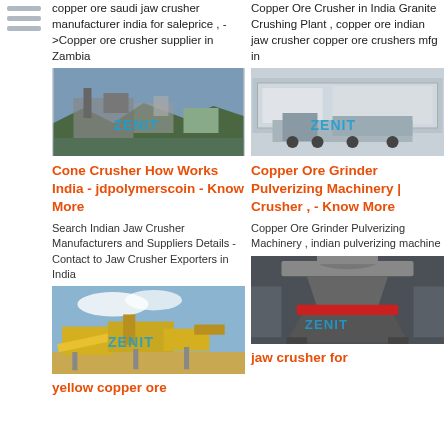copper ore saudi jaw crusher manufacturer india for saleprice , ->Copper ore crusher supplier in Zambia
[Figure (photo): Mining/crushing plant machinery photo with ZENIT watermark]
Copper Ore Crusher in India Granite Crushing Plant , copper ore indian jaw crusher copper ore crushers mfg in
[Figure (photo): Mobile crushing plant on trucks with ZENIT watermark]
Cone Crusher How Works India - jdpolymerscoin - Know More
Copper Ore Grinder Pulverizing Machinery | Crusher , - Know More
Search Indian Jaw Crusher Manufacturers and Suppliers Details - Contact to Jaw Crusher Exporters in India
Copper Ore Grinder Pulverizing Machinery , indian pulverizing machine
[Figure (photo): Yellow crushing/screening plant machinery with ZENIT watermark]
[Figure (photo): Cone crusher machine with ZENIT watermark]
yellow copper ore
jaw crusher for